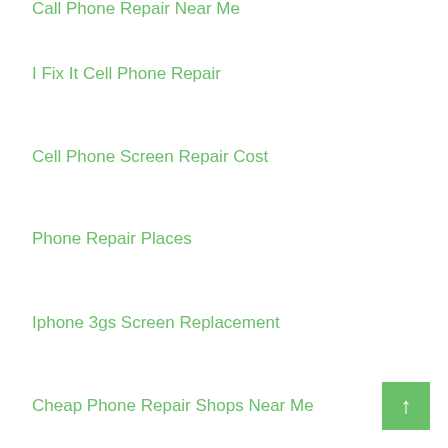Call Phone Repair Near Me
I Fix It Cell Phone Repair
Cell Phone Screen Repair Cost
Phone Repair Places
Iphone 3gs Screen Replacement
Cheap Phone Repair Shops Near Me
Where To Get Phone Fixed
Android Repair Near Me
Cheap Places To Get Your Phone Fixed
Mobile Cell Phone Screen Repair
Sell Phone Repair Shop
Where Can I Get My Cell Phone Screen Fixed
Iphone Fix
Cell Phone Repair Store